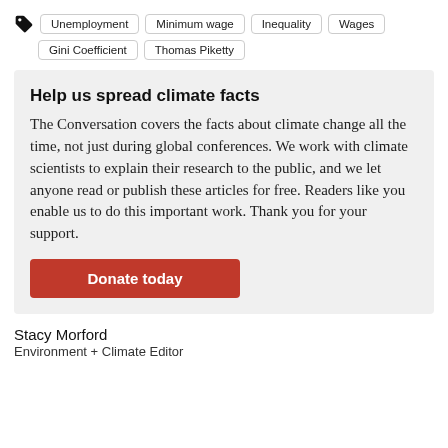Unemployment | Minimum wage | Inequality | Wages | Gini Coefficient | Thomas Piketty
Help us spread climate facts
The Conversation covers the facts about climate change all the time, not just during global conferences. We work with climate scientists to explain their research to the public, and we let anyone read or publish these articles for free. Readers like you enable us to do this important work. Thank you for your support.
Donate today
Stacy Morford
Environment + Climate Editor